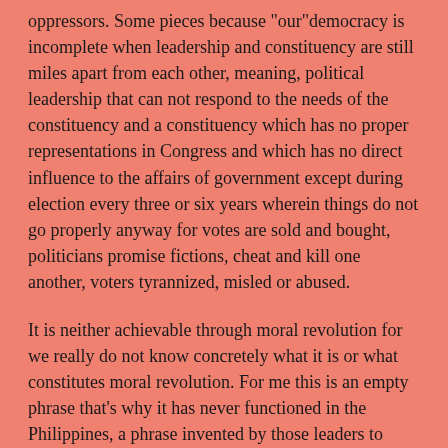oppressors. Some pieces because "our"democracy is incomplete when leadership and constituency are still miles apart from each other, meaning, political leadership that can not respond to the needs of the constituency and a constituency which has no proper representations in Congress and which has no direct influence to the affairs of government except during election every three or six years wherein things do not go properly anyway for votes are sold and bought, politicians promise fictions, cheat and kill one another, voters tyrannized, misled or abused.
It is neither achievable through moral revolution for we really do not know concretely what it is or what constitutes moral revolution. For me this is an empty phrase that's why it has never functioned in the Philippines, a phrase invented by those leaders to excuse themselves from their corrupt practices and to fool the masses.
But before everything, it is proper to ask this: Did we ever have a democracy before? I'm afraid there was none not even during the time of the Americans who took pride in introducing it to the Filipinos. What we inherited was a